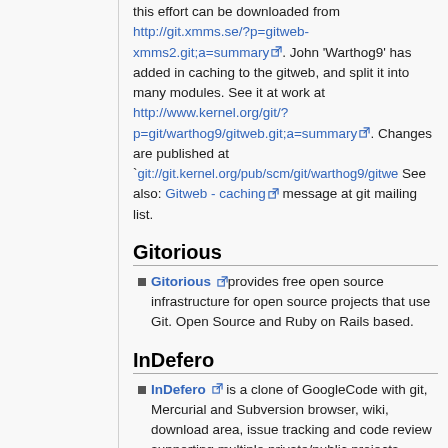this effort can be downloaded from http://git.xmms.se/?p=gitweb-xmms2.git;a=summary. John 'Warthog9' has added in caching to the gitweb, and split it into many modules. See it at work at http://www.kernel.org/git/?p=git/warthog9/gitweb.git;a=summary. Changes are published at `git://git.kernel.org/pub/scm/git/warthog9/gitwe... See also: Gitweb - caching message at git mailing list.
Gitorious
Gitorious provides free open source infrastructure for open source projects that use Git. Open Source and Ruby on Rails based.
InDefero
InDefero is a clone of GoogleCode with git, Mercurial and Subversion browser, wiki, download area, issue tracking and code review supporting multiple private/public projects. Using a shared user account with